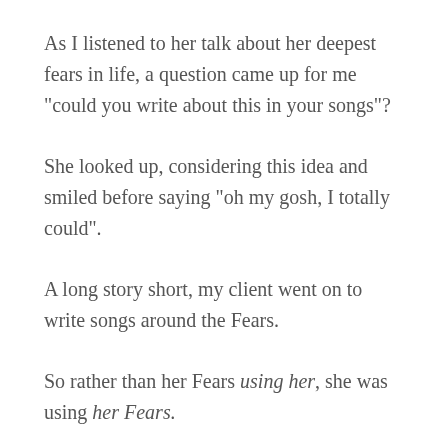As I listened to her talk about her deepest fears in life, a question came up for me "could you write about this in your songs"?
She looked up, considering this idea and smiled before saying "oh my gosh, I totally could".
A long story short, my client went on to write songs around the Fears.
So rather than her Fears using her, she was using her Fears.
And of course, her fans could totally relate to her words because hey, we all have fears!